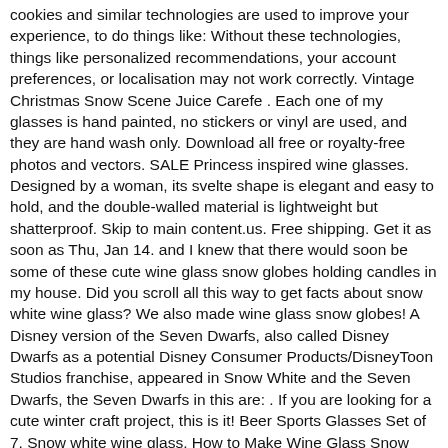cookies and similar technologies are used to improve your experience, to do things like: Without these technologies, things like personalized recommendations, your account preferences, or localisation may not work correctly. Vintage Christmas Snow Scene Juice Carefe . Each one of my glasses is hand painted, no stickers or vinyl are used, and they are hand wash only. Download all free or royalty-free photos and vectors. SALE Princess inspired wine glasses. Designed by a woman, its svelte shape is elegant and easy to hold, and the double-walled material is lightweight but shatterproof. Skip to main content.us. Free shipping. Get it as soon as Thu, Jan 14. and I knew that there would soon be some of these cute wine glass snow globes holding candles in my house. Did you scroll all this way to get facts about snow white wine glass? We also made wine glass snow globes! A Disney version of the Seven Dwarfs, also called Disney Dwarfs as a potential Disney Consumer Products/DisneyToon Studios franchise, appeared in Snow White and the Seven Dwarfs, the Seven Dwarfs in this are: . If you are looking for a cute winter craft project, this is it! Beer Sports Glasses Set of 7. Snow white wine glass. How to Make Wine Glass Snow Globes. Your Wine Bottle Glass Snow Ice stock images are ready. See more ideas about bottle painting, christmas crafts, glass crafts. Average rating: 4.56 out of 5. or Best Offer. $25.91 $ 25. SALE!!! £25.00 £ 25. 1 Set = Every 2 Adults (Sommelier or wine rookie, perfect to begin your wine glass collection.) It's a fun craft that kids and adults can do for Christmas time. White Wine Glass are great budget varietal glasses. £14.95 + £25.56 P&P . 5 out of 5 stars (1,399) 1,399